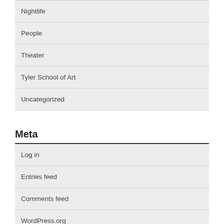Nightlife
People
Theater
Tyler School of Art
Uncategorized
Meta
Log in
Entries feed
Comments feed
WordPress.org